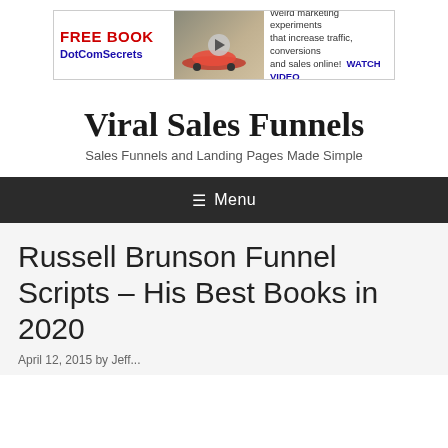[Figure (other): Banner advertisement for Free Book DotComSecrets with red car image and play button. Text: FREE BOOK DotComSecrets | Weird marketing experiments that increase traffic, conversions and sales online! WATCH VIDEO]
Viral Sales Funnels
Sales Funnels and Landing Pages Made Simple
≡ Menu
Russell Brunson Funnel Scripts – His Best Books in 2020
April 12, 2015 by Jeff...